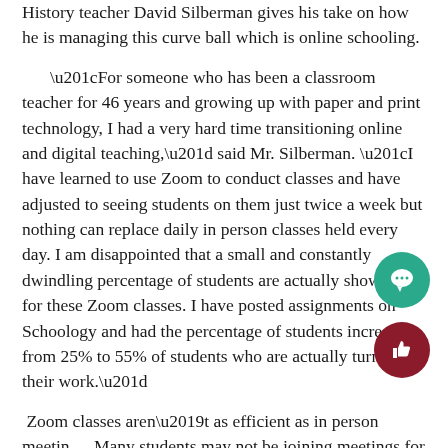History teacher David Silberman gives his take on how he is managing this curve ball which is online schooling.
“For someone who has been a classroom teacher for 46 years and growing up with paper and print technology, I had a very hard time transitioning online and digital teaching,” said Mr. Silberman. “I have learned to use Zoom to conduct classes and have adjusted to seeing students on them just twice a week but nothing can replace daily in person classes held every day. I am disappointed that a small and constantly dwindling percentage of students are actually showing up for these Zoom classes. I have posted assignments on Schoology and had the percentage of students increase from 25% to 55% of students who are actually turning their work.”
Zoom classes aren’t as efficient as in person meetings. Many students may not be joining meetings for seve…